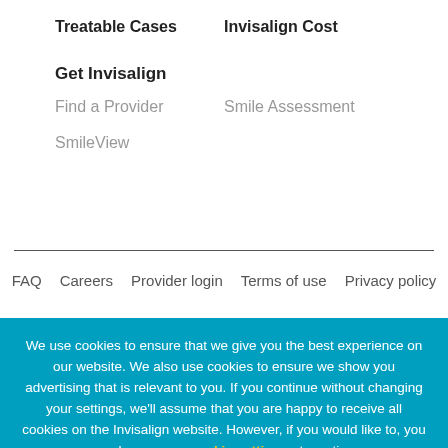Treatable Cases
Invisalign Cost
Get Invisalign
Find a Provider
Smile Assessment
SmileView
FAQ   Careers   Provider login   Terms of use   Privacy policy
We use cookies to ensure that we give you the best experience on our website. We also use cookies to ensure we show you advertising that is relevant to you. If you continue without changing your settings, we'll assume that you are happy to receive all cookies on the Invisalign website. However, if you would like to, you can change your cookie settings at any time.